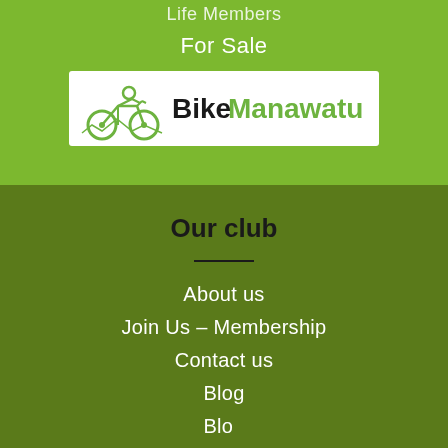Life Members
For Sale
[Figure (logo): BikeManawatu logo — cyclist icon on left, 'Bike' in dark text and 'Manawatu' in green text]
Our club
About us
Join Us – Membership
Contact us
Blog
Blog